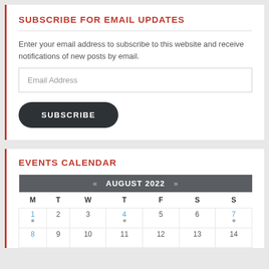SUBSCRIBE FOR EMAIL UPDATES
Enter your email address to subscribe to this website and receive notifications of new posts by email.
Email Address
SUBSCRIBE
EVENTS CALENDAR
| M | T | W | T | F | S | S |
| --- | --- | --- | --- | --- | --- | --- |
| 1 | 2 | 3 | 4 | 5 | 6 | 7 |
| 8 | 9 | 10 | 11 | 12 | 13 | 14 |